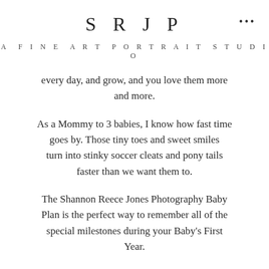SRJP
A FINE ART PORTRAIT STUDIO
every day, and grow, and you love them more and more.
As a Mommy to 3 babies, I know how fast time goes by. Those tiny toes and sweet smiles turn into stinky soccer cleats and pony tails faster than we want them to.
The Shannon Reece Jones Photography Baby Plan is the perfect way to remember all of the special milestones during your Baby's First Year.